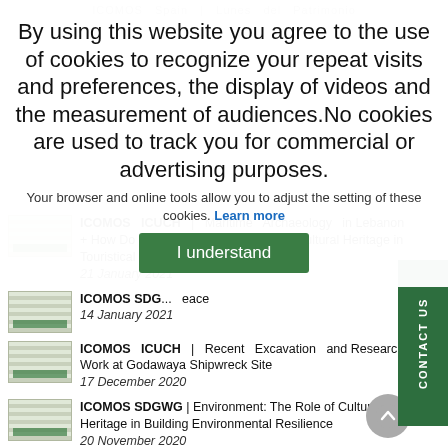ICOMOS  Spain  |  Lunes  del  Patrimonio
By using this website you agree to the use of cookies to recognize your repeat visits and preferences, the display of videos and the measurement of audiences.No cookies are used to track you for commercial or advertising purposes.
Your browser and online tools allow you to adjust the setting of these cookies. Learn more
I understand
ICOMOS ICUCH | Maritime Archaeology in Lebanon + How Do We Preserve of Underwater Cultural Heritage in Touristical Regions?
21 January 2021
ICOMOS SDG... eace
14 January 2021
ICOMOS ICUCH | Recent Excavation and Research Work at Godawaya Shipwreck Site
17 December 2020
ICOMOS SDGWG | Environment: The Role of Cultural Heritage in Building Environmental Resilience
20 November 2020
ICOMOS Netherlands & The Water Channel | Water and Heritage: Telling Examples & Assessment Methodologies